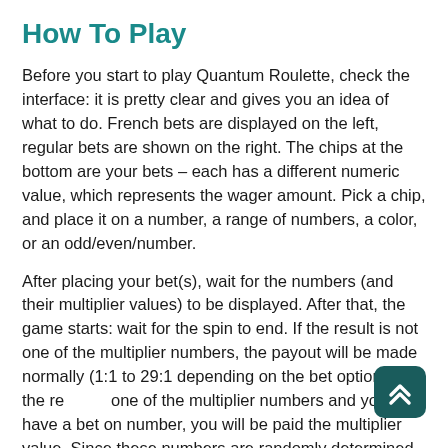How To Play
Before you start to play Quantum Roulette, check the interface: it is pretty clear and gives you an idea of what to do. French bets are displayed on the left, regular bets are shown on the right. The chips at the bottom are your bets – each has a different numeric value, which represents the wager amount. Pick a chip, and place it on a number, a range of numbers, a color, or an odd/even/number.
After placing your bet(s), wait for the numbers (and their multiplier values) to be displayed. After that, the game starts: wait for the spin to end. If the result is not one of the multiplier numbers, the payout will be made normally (1:1 to 29:1 depending on the bet options). If the result is one of the multiplier numbers and you have a bet on that number, you will be paid the multiplier value. Since these numbers are randomly determined, there is no specific Quantum Roulette strategy you can apply, but you can